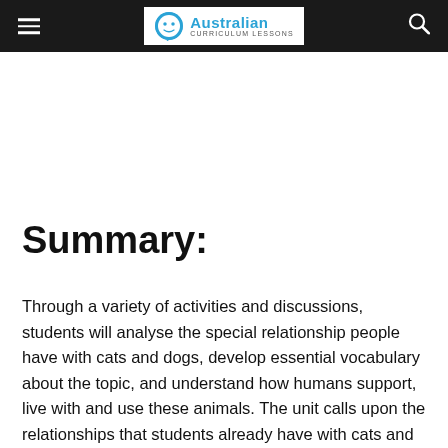Australian Curriculum Lessons
Summary:
Through a variety of activities and discussions, students will analyse the special relationship people have with cats and dogs, develop essential vocabulary about the topic, and understand how humans support, live with and use these animals. The unit calls upon the relationships that students already have with cats and dogs and extends their understanding and knowledge of responsibility. This unit is